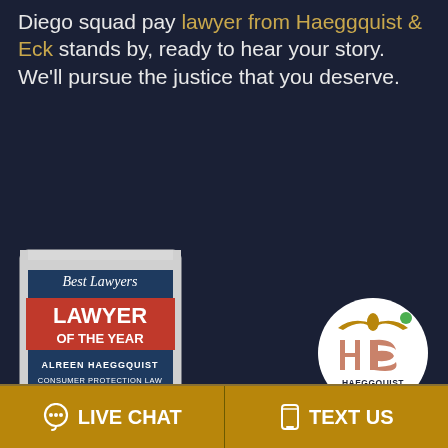Diego squad pay lawyer from Haeggquist & Eck stands by, ready to hear your story. We'll pursue the justice that you deserve.
[Figure (illustration): Best Lawyers - Lawyer of the Year badge/award. Text reads: Best Lawyers, LAWYER OF THE YEAR, ALREEN HAEGGQUIST, CONSUMER PROTECTION LAW, SAN DIEGO, 2022. Shield shape with dark blue background and red banner.]
[Figure (logo): Haeggquist & Eck LLP circular logo. White circle with stylized HE monogram in rose/copper color, decorative bird/wings element in gold at top. Text: HAEGGQUIST & ECK LLP. Online Agent badge below.]
LIVE CHAT
TEXT US